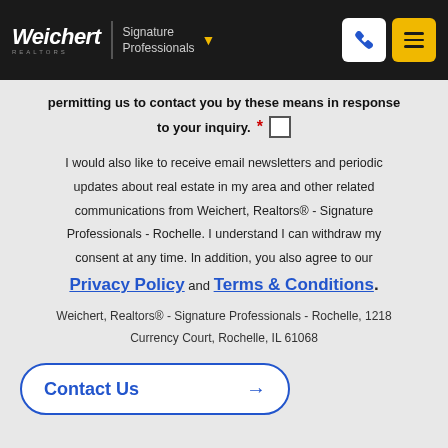Weichert | Signature Professionals
permitting us to contact you by these means in response to your inquiry.
I would also like to receive email newsletters and periodic updates about real estate in my area and other related communications from Weichert, Realtors® - Signature Professionals - Rochelle. I understand I can withdraw my consent at any time. In addition, you also agree to our Privacy Policy and Terms & Conditions.
Weichert, Realtors® - Signature Professionals - Rochelle, 1218 Currency Court, Rochelle, IL 61068
Contact Us